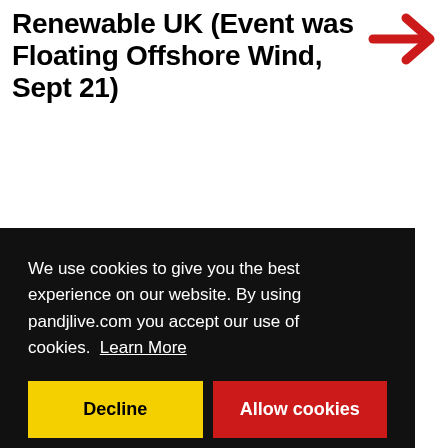Renewable UK (Event was Floating Offshore Wind, Sept 21)
[Figure (other): Red right-pointing arrow icon]
We use cookies to give you the best experience on our website. By using pandjlive.com you accept our use of cookies. Learn More
Decline | Allow cookies